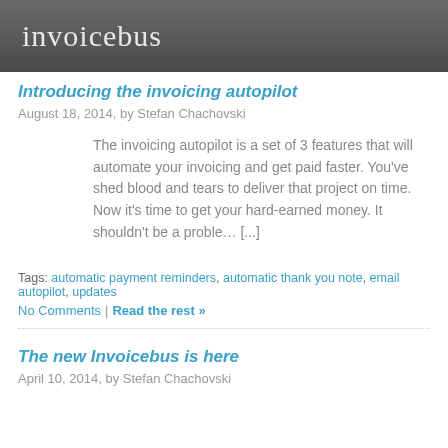invoicebus
Introducing the invoicing autopilot
August 18, 2014, by Stefan Chachovski
The invoicing autopilot is a set of 3 features that will automate your invoicing and get paid faster. You've shed blood and tears to deliver that project on time. Now it's time to get your hard-earned money. It shouldn't be a problem [...]
Tags: automatic payment reminders, automatic thank you note, email autopilot, updates
No Comments | Read the rest »
The new Invoicebus is here
April 10, 2014, by Stefan Chachovski